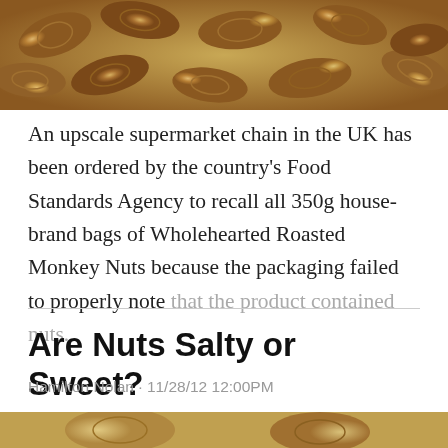[Figure (photo): Close-up photograph of peanuts in shells arranged together, shown from above]
An upscale supermarket chain in the UK has been ordered by the country's Food Standards Agency to recall all 350g house-brand bags of Wholehearted Roasted Monkey Nuts because the packaging failed to properly note that the product contained nuts.
Are Nuts Salty or Sweet?
Hamilton Nolan · 11/28/12 12:00PM
[Figure (photo): Close-up photograph of peanuts in shells, partial view at bottom of page]